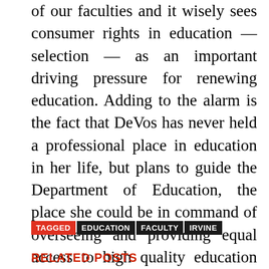of our faculties and it wisely sees consumer rights in education — selection — as an important driving pressure for renewing education. Adding to the alarm is the fact that DeVos has never held a professional place in education in her life, but plans to guide the Department of Education, the place she could be in command of overseeing and providing equal access to high quality education for all Individuals.
TAGGED EDUCATION FACULTY IRVINE
RELATED POSTS